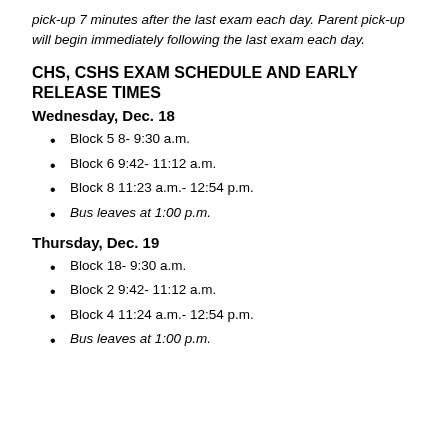pick-up 7 minutes after the last exam each day. Parent pick-up will begin immediately following the last exam each day.
CHS, CSHS EXAM SCHEDULE AND EARLY RELEASE TIMES
Wednesday, Dec. 18
Block 5 8- 9:30 a.m.
Block 6 9:42- 11:12 a.m.
Block 8 11:23 a.m.- 12:54 p.m.
Bus leaves at 1:00 p.m.
Thursday, Dec. 19
Block 18- 9:30 a.m.
Block 2 9:42- 11:12 a.m.
Block 4 11:24 a.m.- 12:54 p.m.
Bus leaves at 1:00 p.m.